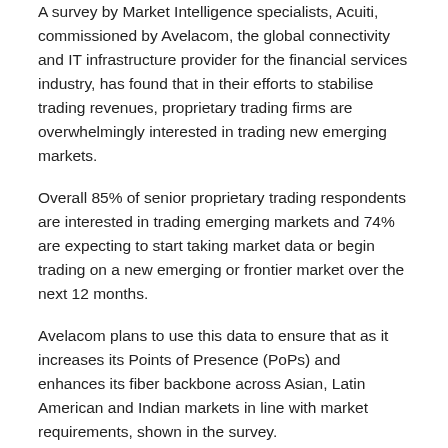A survey by Market Intelligence specialists, Acuiti, commissioned by Avelacom, the global connectivity and IT infrastructure provider for the financial services industry, has found that in their efforts to stabilise trading revenues, proprietary trading firms are overwhelmingly interested in trading new emerging markets.
Overall 85% of senior proprietary trading respondents are interested in trading emerging markets and 74% are expecting to start taking market data or begin trading on a new emerging or frontier market over the next 12 months.
Avelacom plans to use this data to ensure that as it increases its Points of Presence (PoPs) and enhances its fiber backbone across Asian, Latin American and Indian markets in line with market requirements, shown in the survey.
China is highlighted as the country of most interest with 56% of respondents planning to connect or take market data from an exchange in China over the next 12 months for the first time.